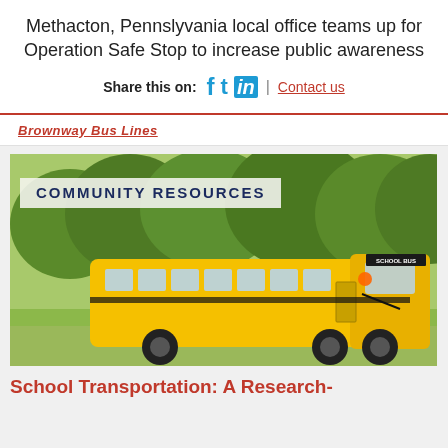Methacton, Pennslyvania local office teams up for Operation Safe Stop to increase public awareness
Share this on: [Facebook] [Twitter] [LinkedIn] | Contact us
Brownway Bus Lines
[Figure (photo): Yellow school bus parked under green trees on a sunny day, with 'SCHOOL BUS' displayed on the front. A banner reading 'COMMUNITY RESOURCES' overlays the top-left of the image.]
School Transportation: A Research-